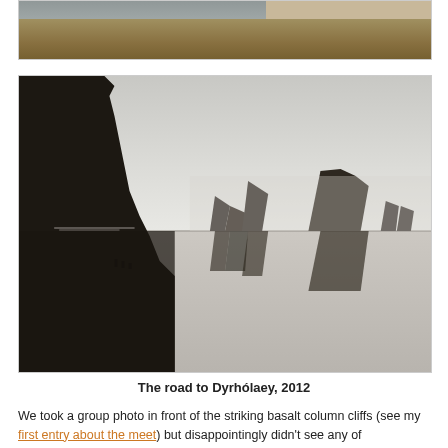[Figure (photo): Partial view of a landscape photo showing grassland and water, cropped at top of page]
[Figure (photo): Dramatic misty landscape photo showing dark basalt rock formations and sea stacks reflected in still water, with a large cliff silhouette on the left and multiple rock spires in the center and right, taken on the road to Dyrhólaey, Iceland, 2012]
The road to Dyrhólaey, 2012
We took a group photo in front of the striking basalt column cliffs (see my first entry about the meet) but disappointingly didn't see any of